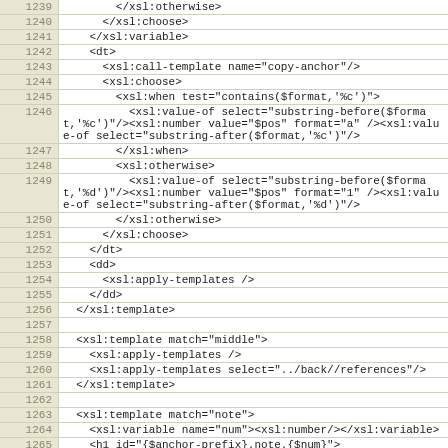[Figure (screenshot): Source code listing showing XSL template code, lines 1239-1265, with line numbers in a tan/beige gutter on the left and code in monospace font on white background.]